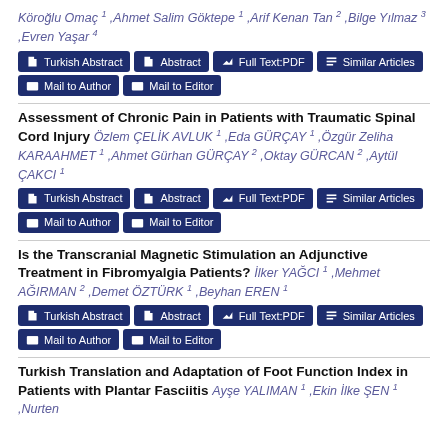Köroğlu Omaç 1 ,Ahmet Salim Göktepe 1 ,Arif Kenan Tan 2 ,Bilge Yılmaz 3 ,Evren Yaşar 4
Turkish Abstract | Abstract | Full Text:PDF | Similar Articles | Mail to Author | Mail to Editor
Assessment of Chronic Pain in Patients with Traumatic Spinal Cord Injury
Özlem ÇELİK AVLUK 1 ,Eda GÜRÇAY 1 ,Özgür Zeliha KARAAHMET 1 ,Ahmet Gürhan GÜRÇAY 2 ,Oktay GÜRCAN 2 ,Aytül ÇAKCI 1
Turkish Abstract | Abstract | Full Text:PDF | Similar Articles | Mail to Author | Mail to Editor
Is the Transcranial Magnetic Stimulation an Adjunctive Treatment in Fibromyalgia Patients?
İlker YAĞCI 1 ,Mehmet AĞIRMAN 2 ,Demet ÖZTÜRK 1 ,Beyhan EREN 1
Turkish Abstract | Abstract | Full Text:PDF | Similar Articles | Mail to Author | Mail to Editor
Turkish Translation and Adaptation of Foot Function Index in Patients with Plantar Fasciitis
Ayşe YALIMAN 1 ,Ekin İlke ŞEN 1 ,Nurten